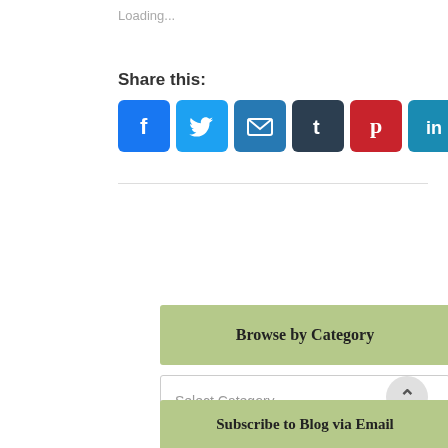Loading...
Share this:
[Figure (infographic): Social share buttons: Facebook (blue), Twitter (light blue), Email (blue), Tumblr (dark), Pinterest (red), LinkedIn (teal), More (blue +)]
Browse by Category
Select Category
Subscribe to Blog via Email